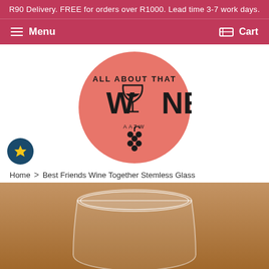R90 Delivery. FREE for orders over R1000. Lead time 3-7 work days.
Menu  Cart
[Figure (logo): All About That Wine circular logo on salmon/pink background with wine glass and grape cluster]
Home > Best Friends Wine Together Stemless Glass
[Figure (photo): Product photo of a stemless wine glass on a warm wooden background]